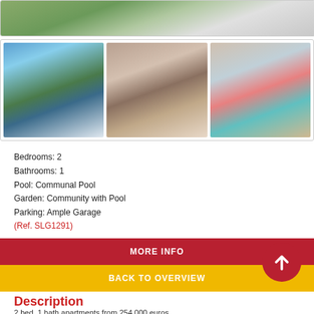[Figure (photo): Top partial property photo showing outdoor area with greenery]
[Figure (photo): Three property thumbnail photos: exterior with pool, bedroom interior, living room interior]
Bedrooms: 2
Bathrooms: 1
Pool: Communal Pool
Garden: Community with Pool
Parking: Ample Garage
(Ref. SLG1291)
MORE INFO
BACK TO OVERVIEW
Description
2 bed, 1 bath apartments from 254,000 euros